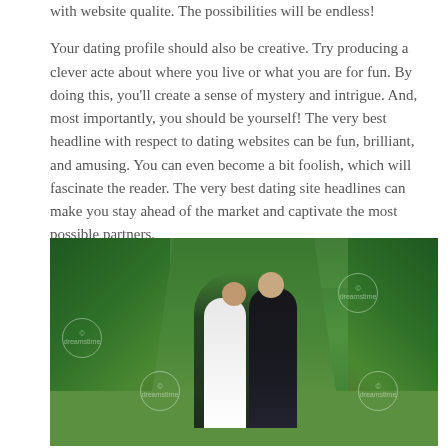with website qualite. The possibilities will be endless! Your dating profile should also be creative. Try producing a clever acte about where you live or what you are for fun. By doing this, you'll create a sense of mystery and intrigue. And, most importantly, you should be yourself! The very best headline with respect to dating websites can be fun, brilliant, and amusing. You can even become a bit foolish, which will fascinate the reader. The very best dating site headlines can make you stay ahead of the market and captivate the most possible partners.
[Figure (photo): A wedding couple kissing in a park or garden alley lined with tall green trees, groom in dark suit and bride in white dress holding a bouquet, with watermarks overlaid.]